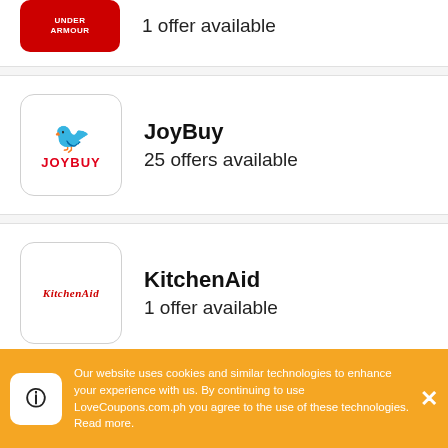Under Armour – 1 offer available (partial, cropped at top)
JoyBuy – 25 offers available
KitchenAid – 1 offer available
Marks & Spencer – 1 offer available
Our website uses cookies and similar technologies to enhance your experience with us. By continuing to use LoveCoupons.com.ph you agree to the use of these technologies. Read more.